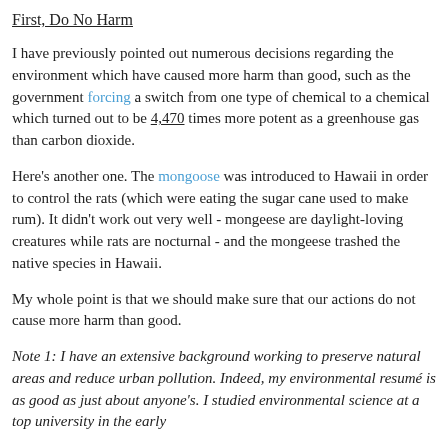First, Do No Harm
I have previously pointed out numerous decisions regarding the environment which have caused more harm than good, such as the government forcing a switch from one type of chemical to a chemical which turned out to be 4,470 times more potent as a greenhouse gas than carbon dioxide.
Here's another one. The mongoose was introduced to Hawaii in order to control the rats (which were eating the sugar cane used to make rum). It didn't work out very well - mongeese are daylight-loving creatures while rats are nocturnal - and the mongeese trashed the native species in Hawaii.
My whole point is that we should make sure that our actions do not cause more harm than good.
Note 1: I have an extensive background working to preserve natural areas and reduce urban pollution. Indeed, my environmental resumé is as good as just about anyone's. I studied environmental science at a top university in the early